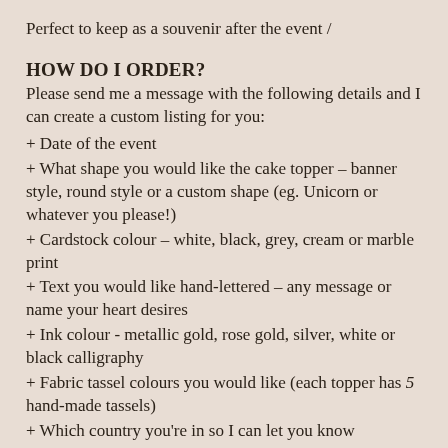Perfect to keep as a souvenir after the event /
HOW DO I ORDER?
Please send me a message with the following details and I can create a custom listing for you:
+ Date of the event
+ What shape you would like the cake topper – banner style, round style or a custom shape (eg. Unicorn or whatever you please!)
+ Cardstock colour – white, black, grey, cream or marble print
+ Text you would like hand-lettered – any message or name your heart desires
+ Ink colour - metallic gold, rose gold, silver, white or black calligraphy
+ Fabric tassel colours you would like (each topper has 5 hand-made tassels)
+ Which country you're in so I can let you know